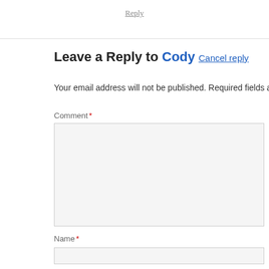Reply
Leave a Reply to Cody Cancel reply
Your email address will not be published. Required fields are m
Comment *
Name *